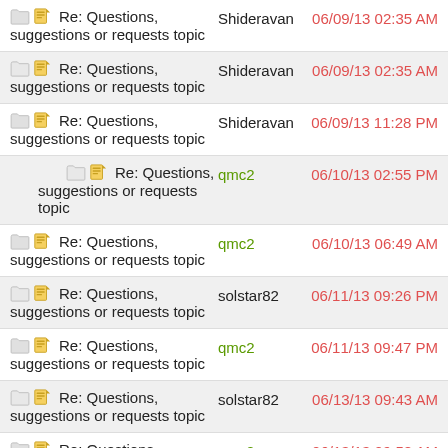Re: Questions, suggestions or requests topic — Shideravan — 06/09/13 02:35 AM
Re: Questions, suggestions or requests topic — Shideravan — 06/09/13 02:35 AM
Re: Questions, suggestions or requests topic — Shideravan — 06/09/13 11:28 PM
Re: Questions, suggestions or requests topic — qmc2 — 06/10/13 02:55 PM
Re: Questions, suggestions or requests topic — qmc2 — 06/10/13 06:49 AM
Re: Questions, suggestions or requests topic — solstar82 — 06/11/13 09:26 PM
Re: Questions, suggestions or requests topic — qmc2 — 06/11/13 09:47 PM
Re: Questions, suggestions or requests topic — solstar82 — 06/13/13 09:43 AM
Re: Questions, suggestions or requests topic — qmc2 — 06/13/13 09:58 AM
Re: Questions, — B2K24 — 06/14/13 01:23 AM